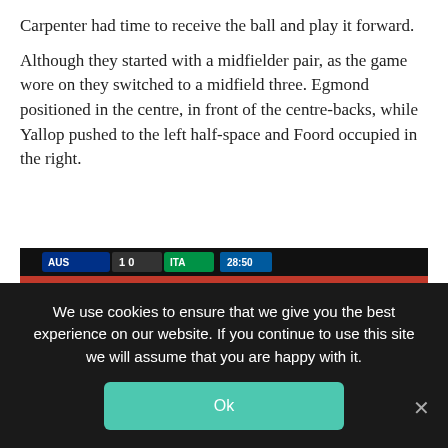Carpenter had time to receive the ball and play it forward.
Although they started with a midfielder pair, as the game wore on they switched to a midfield three. Egmond positioned in the centre, in front of the centre-backs, while Yallop pushed to the left half-space and Foord occupied in the right.
[Figure (screenshot): Football match screenshot showing AUS 1-0 ITA at 28:50 with Qatar Airways advertising boards visible. Yellow triangle annotation drawn on pitch highlighting three player positions.]
We use cookies to ensure that we give you the best experience on our website. If you continue to use this site we will assume that you are happy with it.